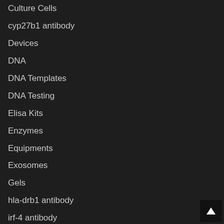Culture Cells
cyp27b1 antibody
Devices
DNA
DNA Templates
DNA Testing
Elisa Kits
Enzymes
Equipments
Exosomes
Gels
hla-drb1 antibody
irf-4 antibody
Isotypes
lair1 antibody
Medium & Serums
NATtrol
Panel